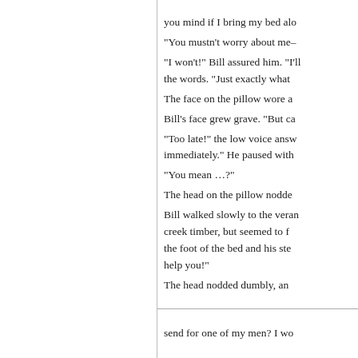you mind if I bring my bed alo
“You mustn't worry about me–
“I won't!” Bill assured him. “I'll the words. “Just exactly what
The face on the pillow wore a
Bill’s face grew grave. “But ca
“Too late!” the low voice answ immediately.” He paused with
“You mean …?”
The head on the pillow nodde
Bill walked slowly to the veran creek timber, but seemed to f the foot of the bed and his ste help you!”
The head nodded dumbly, an
send for one of my men? I wo